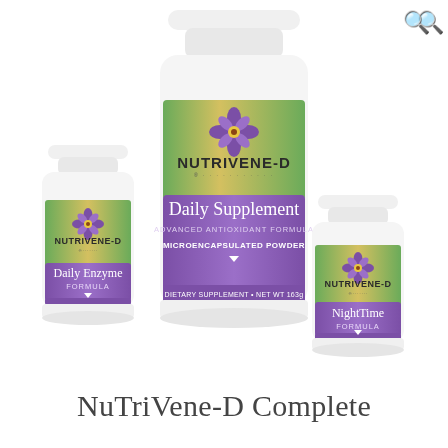[Figure (photo): Three Nutrivene-D supplement bottles: Daily Enzyme Formula (small, left), Daily Supplement Advanced Antioxidant Formula Microencapsulated Powder (large, center), and NightTime Formula (small, right). All bottles are white with purple and green label designs featuring a four-petal flower logo and the Nutrivene-D brand name.]
NuTriVene-D Complete